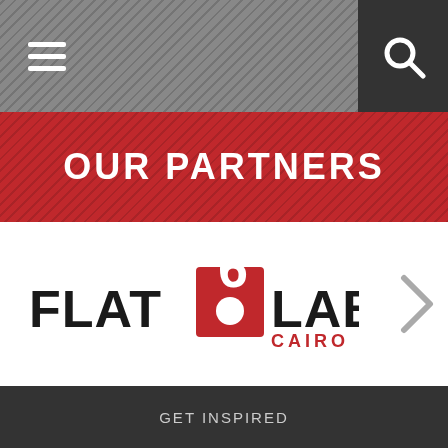Navigation bar with hamburger menu and search icon
OUR PARTNERS
[Figure (logo): Flat6Labs Cairo logo — FLAT text, red square with white 6 digit, LABS text, CAIRO in red below]
GET INSPIRED